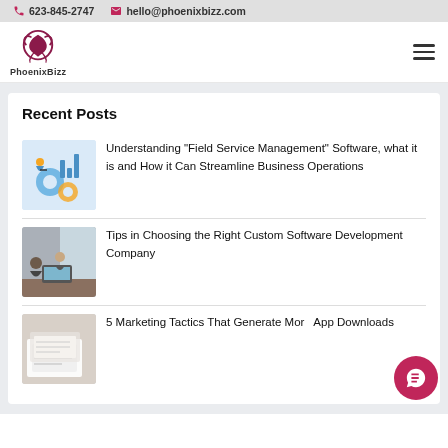623-845-2747   hello@phoenixbizz.com
[Figure (logo): PhoenixBizz logo with stylized phoenix bird in dark red/maroon]
Recent Posts
[Figure (illustration): Field service management illustration with gears and person with tablet]
Understanding "Field Service Management" Software, what it is and How it Can Streamline Business Operations
[Figure (photo): Two people working at a laptop near a window]
Tips in Choosing the Right Custom Software Development Company
[Figure (photo): Marketing documents and papers on a desk]
5 Marketing Tactics That Generate More App Downloads